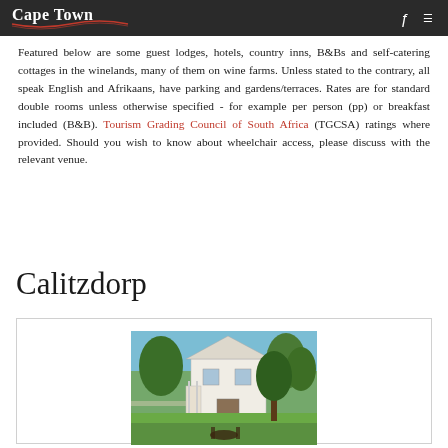Cape Town
Featured below are some guest lodges, hotels, country inns, B&Bs and self-catering cottages in the winelands, many of them on wine farms. Unless stated to the contrary, all speak English and Afrikaans, have parking and gardens/terraces. Rates are for standard double rooms unless otherwise specified - for example per person (pp) or breakfast included (B&B). Tourism Grading Council of South Africa (TGCSA) ratings where provided. Should you wish to know about wheelchair access, please discuss with the relevant venue.
Calitzdorp
[Figure (photo): A guest lodge or country inn building with garden seating, trees, and lush greenery, in Calitzdorp]